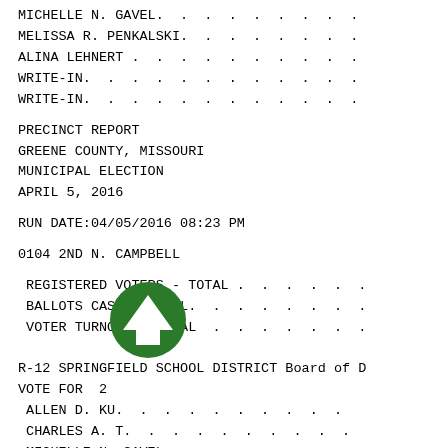MICHELLE N. GAVEL. . . . . . . . . .
MELISSA R. PENKALSKI. . . . . . . . .
ALINA LEHNERT . . . . . . . . . . .
WRITE-IN. . . . . . . . . . . . . .
WRITE-IN. . . . . . . . . . . . . .
PRECINCT REPORT
GREENE COUNTY, MISSOURI
MUNICIPAL ELECTION
APRIL 5, 2016
RUN DATE:04/05/2016 08:23 PM
0104 2ND N. CAMPBELL
REGISTERED VOTERS - TOTAL . . . . . .
BALLOTS CAST - TOTAL. . . . . . . . .
VOTER TURNOUT - TOTAL . . . . . . . .
R-12 SPRINGFIELD SCHOOL DISTRICT Board of D
VOTE FOR  2
ALLEN D. KU. . . . . . . . . . . .
CHARLES A. T. . . . . . . . . . . .
MICHELLE N. GAVEL. . . . . . . . . .
MELISSA R. PENKALSKI.